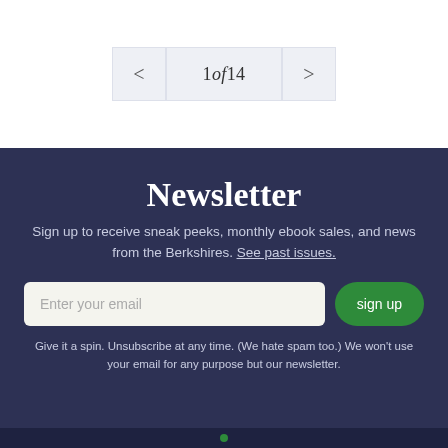< 1 of 14 >
Newsletter
Sign up to receive sneak peeks, monthly ebook sales, and news from the Berkshires. See past issues.
Enter your email | sign up
Give it a spin. Unsubscribe at any time. (We hate spam too.) We won't use your email for any purpose but our newsletter.